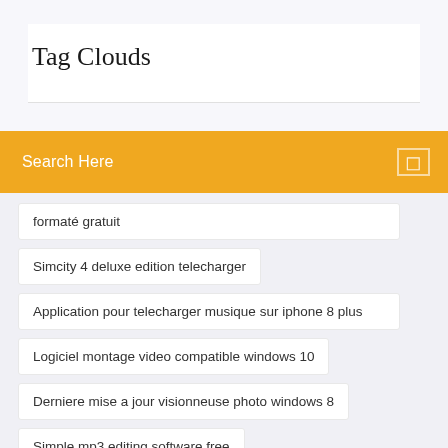Tag Clouds
Search Here
formaté gratuit
Simcity 4 deluxe edition telecharger
Application pour telecharger musique sur iphone 8 plus
Logiciel montage video compatible windows 10
Derniere mise a jour visionneuse photo windows 8
Simple mp3 editing software free